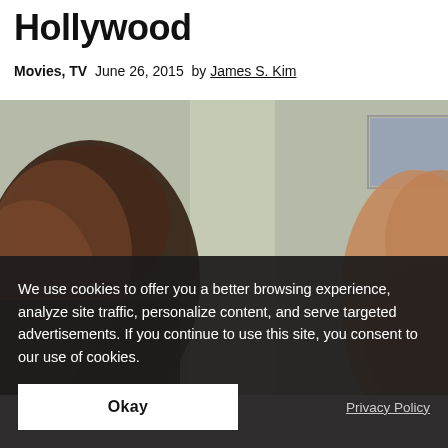Hollywood
Movies, TV  June 26, 2015  by James S. Kim
[Figure (photo): Two people facing each other in an indoor setting with a light green/gray wall and a framed picture in the background. Left person has dark hair, right person is partially visible. Image is somewhat blurry.]
We use cookies to offer you a better browsing experience, analyze site traffic, personalize content, and serve targeted advertisements. If you continue to use this site, you consent to our use of cookies.
Okay
Privacy Policy